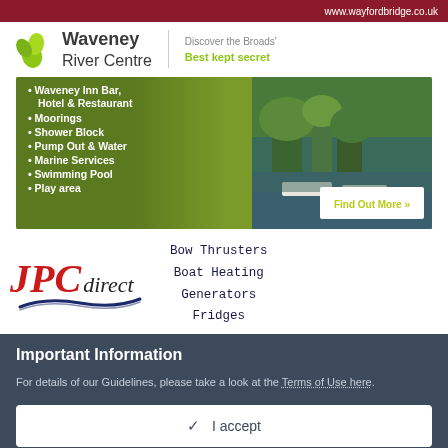[Figure (illustration): Top red banner with www.wayfordbridge.co.uk URL text]
[Figure (logo): Waveney River Centre logo with green leaf icon and tagline 'Discover the Broads Best kept secret']
[Figure (infographic): Waveney Inn Bar advertisement with green background, bullet list of amenities, river photo, and Find Out More button]
Waveney Inn Bar, Hotel & Restaurant
Moorings
Shower Block
Pump Out & Water
Marine Services
Swimming Pool
Play area
[Figure (logo): JPC Direct logo in red italic serif font with blue wave underneath]
Bow Thrusters
Boat Heating
Generators
Fridges
Important Information
For details of our Guidelines, please take a look at the Terms of Use here.
✓  I accept